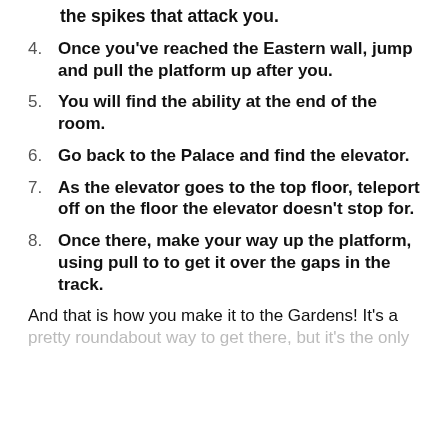the spikes that attack you.
4. Once you've reached the Eastern wall, jump and pull the platform up after you.
5. You will find the ability at the end of the room.
6. Go back to the Palace and find the elevator.
7. As the elevator goes to the top floor, teleport off on the floor the elevator doesn't stop for.
8. Once there, make your way up the platform, using pull to to get it over the gaps in the track.
And that is how you make it to the Gardens! It's a pretty roundabout way to get there, but it's the only way.